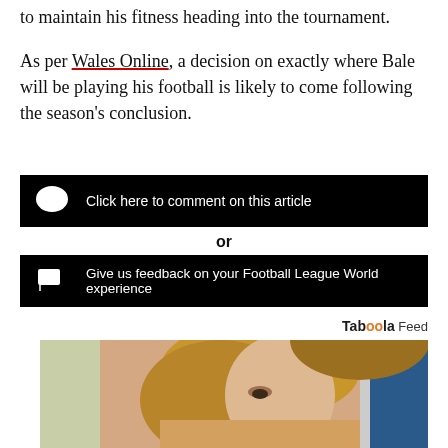to maintain his fitness heading into the tournament. As per Wales Online, a decision on exactly where Bale will be playing his football is likely to come following the season's conclusion.
Click here to comment on this article
or
Give us feedback on your Football League World experience
Taboola Feed
[Figure (photo): Partial photo of a blonde woman, appears to be an advertisement or sponsored content thumbnail from Taboola feed]